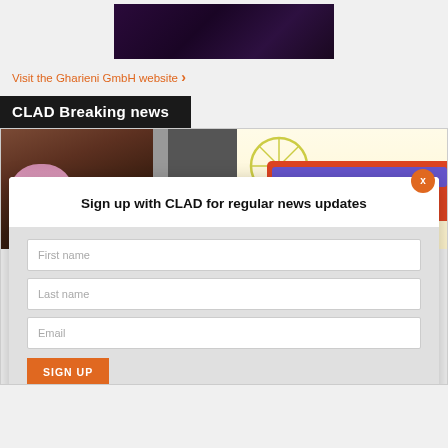[Figure (photo): Dark purple/black image, appears to be a screenshot or video thumbnail with dark background]
Visit the Gharieni GmbH website ›
CLAD Breaking news
[Figure (photo): News section image showing a person in a floral top on the left and a colorful bus/transport graphic on the right]
Sign up with CLAD for regular news updates
First name
Last name
Email
SIGN UP